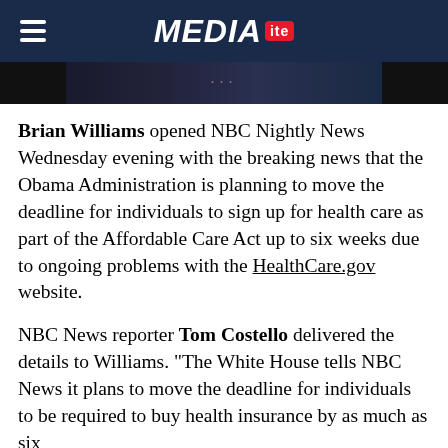MEDIAITE
[Figure (photo): Partial image strip showing a dark TV broadcast scene]
Brian Williams opened NBC Nightly News Wednesday evening with the breaking news that the Obama Administration is planning to move the deadline for individuals to sign up for health care as part of the Affordable Care Act up to six weeks due to ongoing problems with the HealthCare.gov website.
NBC News reporter Tom Costello delivered the details to Williams. "The White House tells NBC News it plans to move the deadline for individuals to be required to buy health insurance by as much as six